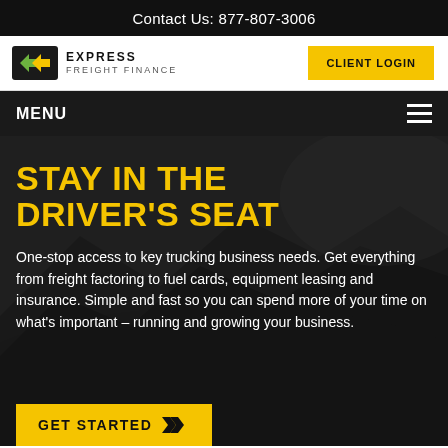Contact Us: 877-807-3006
[Figure (logo): Express Freight Finance logo with green arrow icon, plus CLIENT LOGIN button]
MENU
STAY IN THE DRIVER'S SEAT
One-stop access to key trucking business needs. Get everything from freight factoring to fuel cards, equipment leasing and insurance. Simple and fast so you can spend more of your time on what's important – running and growing your business.
GET STARTED